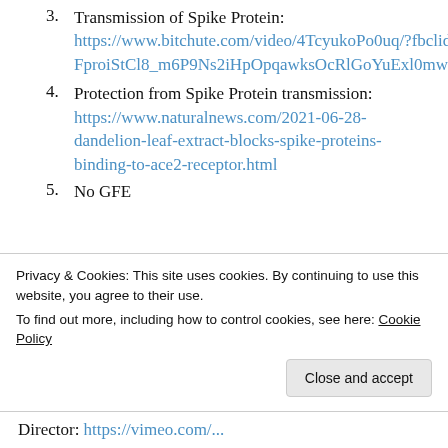3. Transmission of Spike Protein: https://www.bitchute.com/video/4TcyukoPo0uq/?fbclid=IwAR0Rt-FproiStCl8_m6P9Ns2iHpOpqawksOcRlGoYuExl0mwCEj63WjM8pI
4. Protection from Spike Protein transmission: https://www.naturalnews.com/2021-06-28-dandelion-leaf-extract-blocks-spike-proteins-binding-to-ace2-receptor.html
5. No GFE...
Privacy & Cookies: This site uses cookies. By continuing to use this website, you agree to their use. To find out more, including how to control cookies, see here: Cookie Policy
Director: https://vimeo.com/...